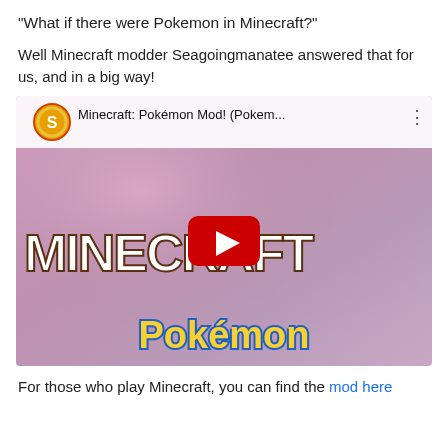"What if there were Pokemon in Minecraft?"
Well Minecraft modder Seagoingmanatee answered that for us, and in a big way!
[Figure (screenshot): YouTube video embed showing 'Minecraft: Pokémon Mod! (Pokem...' with a YouTube play button overlay. The thumbnail shows the Minecraft logo and Pokémon logo on a purple/pink textured background.]
For those who play Minecraft, you can find the mod here